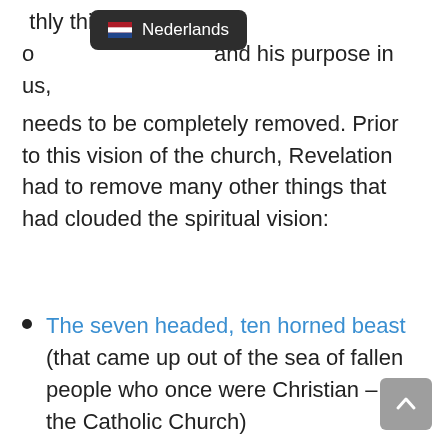[Figure (screenshot): Tooltip/dropdown showing Netherlands flag and text 'Nederlands' on dark background]
earthly things that cloud our [vision] and his purpose in us, needs to be completely removed. Prior to this vision of the church, Revelation had to remove many other things that had clouded the spiritual vision:
The seven headed, ten horned beast (that came up out of the sea of fallen people who once were Christian – Via the Catholic Church)
The false prophet beast like a